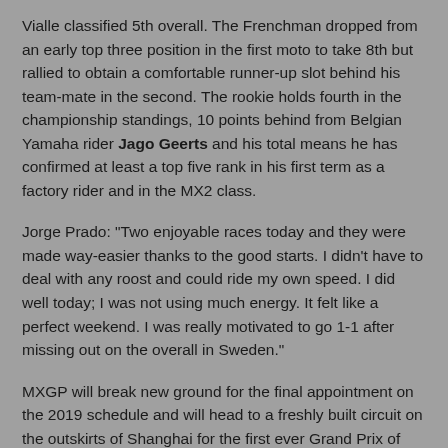Vialle classified 5th overall. The Frenchman dropped from an early top three position in the first moto to take 8th but rallied to obtain a comfortable runner-up slot behind his team-mate in the second. The rookie holds fourth in the championship standings, 10 points behind from Belgian Yamaha rider Jago Geerts and his total means he has confirmed at least a top five rank in his first term as a factory rider and in the MX2 class.
Jorge Prado: "Two enjoyable races today and they were made way-easier thanks to the good starts. I didn't have to deal with any roost and could ride my own speed. I did well today; I was not using much energy. It felt like a perfect weekend. I was really motivated to go 1-1 after missing out on the overall in Sweden."
MXGP will break new ground for the final appointment on the 2019 schedule and will head to a freshly built circuit on the outskirts of Shanghai for the first ever Grand Prix of China next weekend.